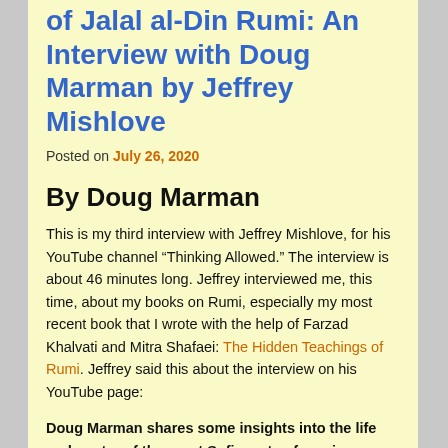of Jalaluddin Rumi: An Interview with Doug Marman by Jeffrey Mishlove
Posted on July 26, 2020
By Doug Marman
This is my third interview with Jeffrey Mishlove, for his YouTube channel “Thinking Allowed.” The interview is about 46 minutes long. Jeffrey interviewed me, this time, about my books on Rumi, especially my most recent book that I wrote with the help of Farzad Khalvati and Mitra Shafaei: The Hidden Teachings of Rumi. Jeffrey said this about the interview on his YouTube page:
Doug Marman shares some insights into the life and poetry of the great Sufi master, focusing especially on the unique relationship between Rumi and his